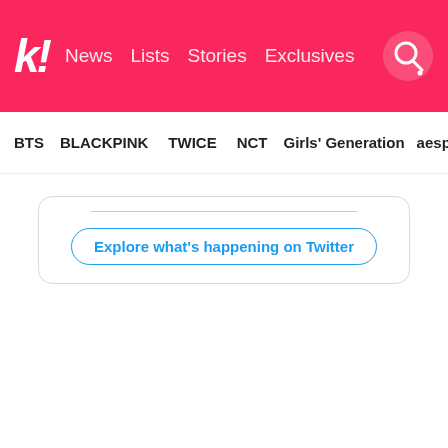k! News Lists Stories Exclusives
BTS BLACKPINK TWICE NCT Girls' Generation aespa
Explore what's happening on Twitter